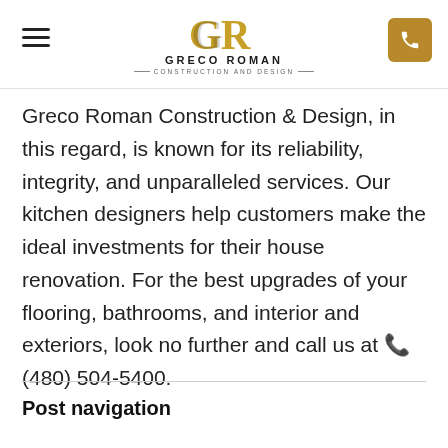GRECO ROMAN CONSTRUCTION AND DESIGN
Greco Roman Construction & Design, in this regard, is known for its reliability, integrity, and unparalleled services. Our kitchen designers help customers make the ideal investments for their house renovation. For the best upgrades of your flooring, bathrooms, and interior and exteriors, look no further and call us at ☎ (480) 504-5400.
Post navigation